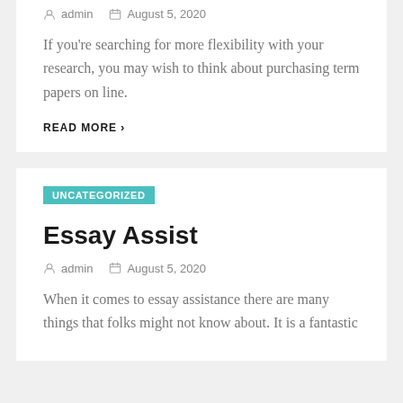admin   August 5, 2020
If you're searching for more flexibility with your research, you may wish to think about purchasing term papers on line.
READ MORE >
UNCATEGORIZED
Essay Assist
admin   August 5, 2020
When it comes to essay assistance there are many things that folks might not know about. It is a fantastic